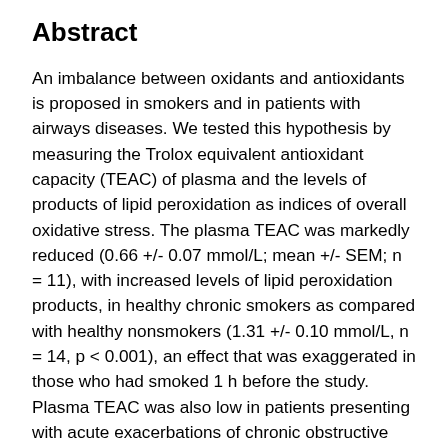Abstract
An imbalance between oxidants and antioxidants is proposed in smokers and in patients with airways diseases. We tested this hypothesis by measuring the Trolox equivalent antioxidant capacity (TEAC) of plasma and the levels of products of lipid peroxidation as indices of overall oxidative stress. The plasma TEAC was markedly reduced (0.66 +/- 0.07 mmol/L; mean +/- SEM; n = 11), with increased levels of lipid peroxidation products, in healthy chronic smokers as compared with healthy nonsmokers (1.31 +/- 0.10 mmol/L, n = 14, p < 0.001), an effect that was exaggerated in those who had smoked 1 h before the study. Plasma TEAC was also low in patients presenting with acute exacerbations of chronic obstructive pulmonary disease (COPD) (0.46 +/- 0.10 mmol/L, n = 20, p < 0.001) or asthma (0.61 +/- 0.05 mmol/L, n = 9, p < 0.01) with increases in plasma lipid peroxidation products. There was a negative correlation